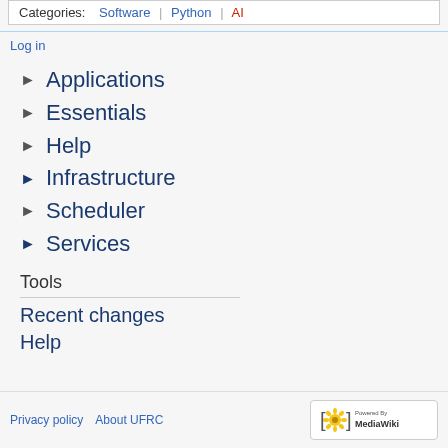Categories: Software | Python | AI
Log in
► Applications
► Essentials
► Help
► Infrastructure
► Scheduler
► Services
Tools
Recent changes
Help
Privacy policy  About UFRC